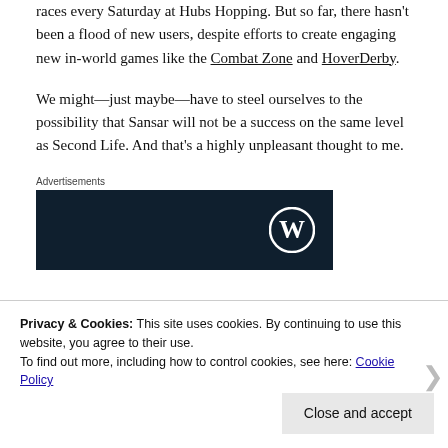races every Saturday at Hubs Hopping. But so far, there hasn't been a flood of new users, despite efforts to create engaging new in-world games like the Combat Zone and HoverDerby.
We might—just maybe—have to steel ourselves to the possibility that Sansar will not be a success on the same level as Second Life. And that's a highly unpleasant thought to me.
Advertisements
[Figure (other): Dark navy advertisement box with WordPress logo (W in circle) on the right side]
Privacy & Cookies: This site uses cookies. By continuing to use this website, you agree to their use.
To find out more, including how to control cookies, see here: Cookie Policy